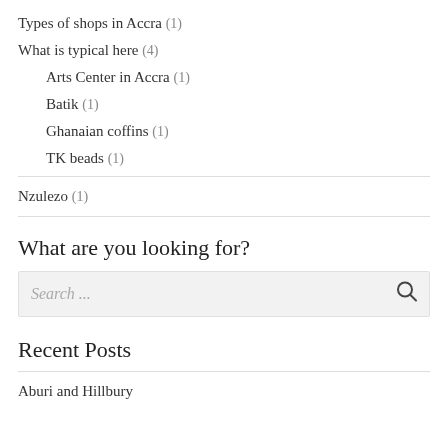Types of shops in Accra (1)
What is typical here (4)
Arts Center in Accra (1)
Batik (1)
Ghanaian coffins (1)
TK beads (1)
Nzulezo (1)
What are you looking for?
Search ...
Recent Posts
Aburi and Hillbury